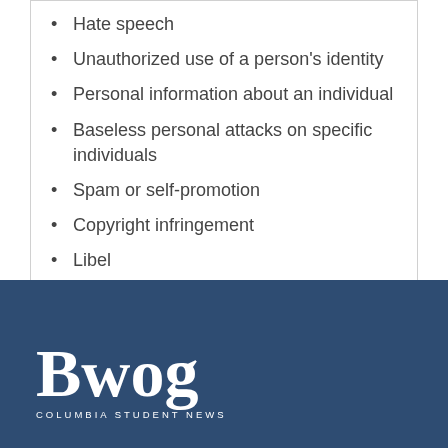Hate speech
Unauthorized use of a person's identity
Personal information about an individual
Baseless personal attacks on specific individuals
Spam or self-promotion
Copyright infringement
Libel
COVID-19 misinformation
[Figure (logo): Bwog Columbia Student News logo in white on dark blue background]